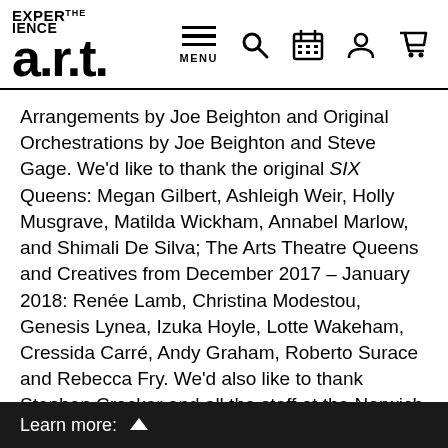[Figure (logo): Experience the a.r.t. logo with bold stylized text]
[Figure (infographic): Navigation bar with hamburger menu icon labeled MENU, and icons for search, calendar, user, and cart]
Arrangements by Joe Beighton and Original Orchestrations by Joe Beighton and Steve Gage. We’d like to thank the original SIX Queens: Megan Gilbert, Ashleigh Weir, Holly Musgrave, Matilda Wickham, Annabel Marlow, and Shimali De Silva; The Arts Theatre Queens and Creatives from December 2017 – January 2018: Renée Lamb, Christina Modestou, Genesis Lynea, Izuka Hoyle, Lotte Wakeham, Cressida Carré, Andy Graham, Roberto Surace and Rebecca Fry. We’d also like to thank Stephen Crocker and all the staff at the Norwich Theatre
Learn more: